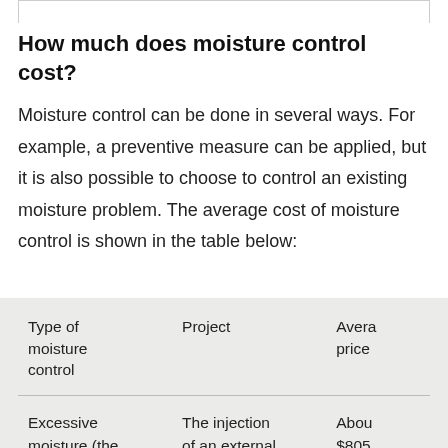How much does moisture control cost?
Moisture control can be done in several ways. For example, a preventive measure can be applied, but it is also possible to choose to control an existing moisture problem. The average cost of moisture control is shown in the table below:
| Type of moisture control | Project | Average price |
| --- | --- | --- |
| Excessive moisture (the type of | The injection of an external wall of 8 | About $805 |